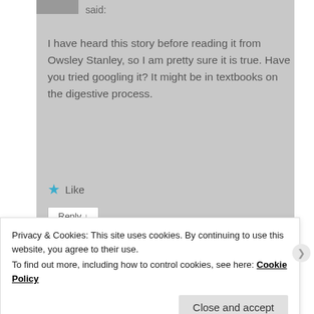said:
I have heard this story before reading it from Owsley Stanley, so I am pretty sure it is true. Have you tried googling it? It might be in textbooks on the digestive process.
★ Like
Reply ↓
karuna
on February 23, 2017 at 12:06 AM said:
Privacy & Cookies: This site uses cookies. By continuing to use this website, you agree to their use.
To find out more, including how to control cookies, see here: Cookie Policy
Close and accept